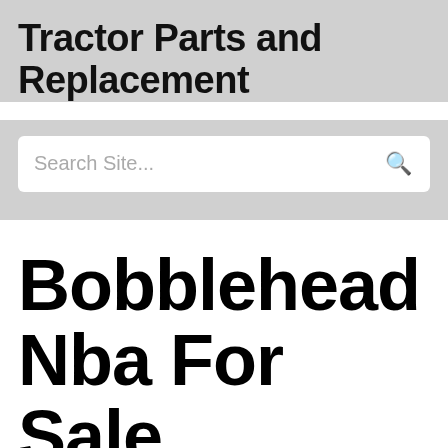Tractor Parts and Replacement
[Figure (other): Search bar with placeholder text 'Search Site...' and a search icon on the right]
Bobblehead Nba For Sale